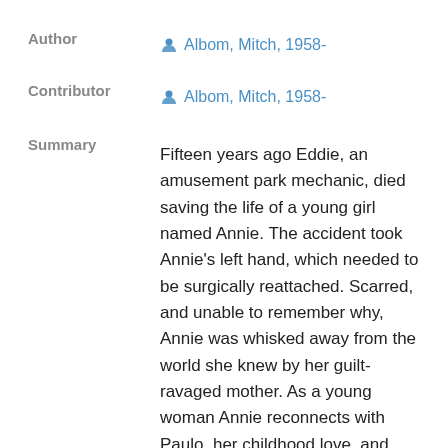Author
Albom, Mitch, 1958-
Contributor
Albom, Mitch, 1958-
Summary
Fifteen years ago Eddie, an amusement park mechanic, died saving the life of a young girl named Annie. The accident took Annie's left hand, which needed to be surgically reattached. Scarred, and unable to remember why, Annie was whisked away from the world she knew by her guilt-ravaged mother. As a young woman Annie reconnects with Paulo, her childhood love, and believes she has finally found happiness. When their wedding night ends in an unimaginable accident, Annie finds herself on her own heavenly journey -- and an inevitable